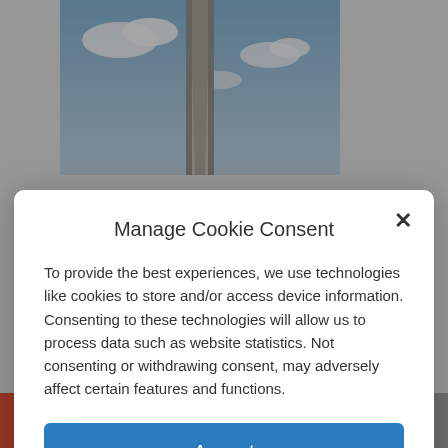[Figure (photo): Photograph of a tall stone monument or obelisk against a blue sky with clouds]
call it, “masculine” shape, and this is
Manage Cookie Consent
To provide the best experiences, we use technologies like cookies to store and/or access device information. Consenting to these technologies will allow us to process data such as website statistics. Not consenting or withdrawing consent, may adversely affect certain features and functions.
Accept
Cookie Policy   Privacy Policy